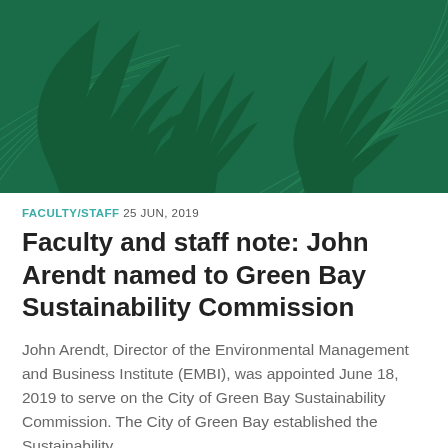[Figure (illustration): Dark green decorative banner image with abstract leaf/plant silhouettes and concentric line patterns on a green background]
FACULTY/STAFF 25 JUN, 2019
Faculty and staff note: John Arendt named to Green Bay Sustainability Commission
John Arendt, Director of the Environmental Management and Business Institute (EMBI), was appointed June 18, 2019 to serve on the City of Green Bay Sustainability Commission. The City of Green Bay established the Sustainability...